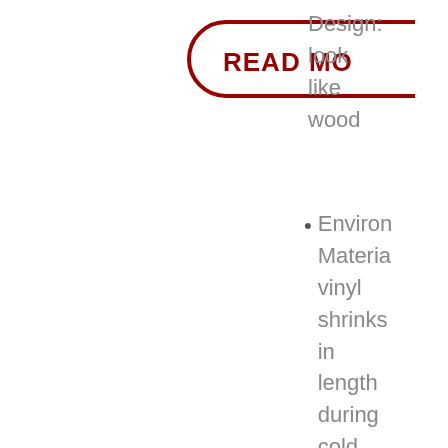[Figure (other): A partially visible rounded rectangle button outline in dark red with bold red text 'READ MO' (truncated) inside, cut off at the right edge.]
Design: look like wood
Environ Materia vinyl shrinks in length during cold and hot periods